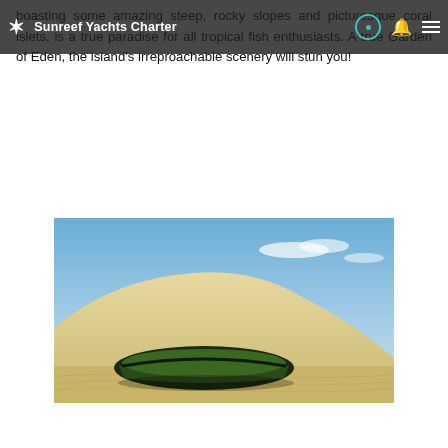Sunreef Yachts Charter
boasting some amazing steep, rocky slopes and picturesque coral islets, is a true paradise for all tropical fish enthusiasts. A true Garden of Eden, the island's irreproachable scenery will stun you!
[Figure (photo): A green canoe resting on sandy dunes beneath a blue sky with light clouds]